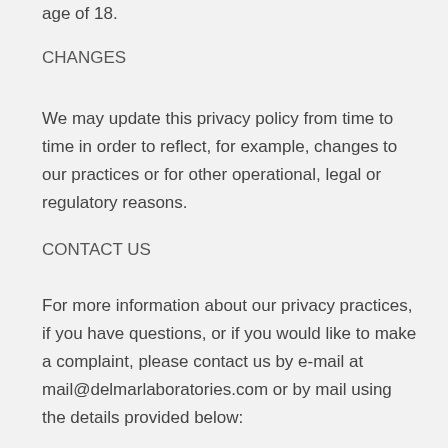age of 18.
CHANGES
We may update this privacy policy from time to time in order to reflect, for example, changes to our practices or for other operational, legal or regulatory reasons.
CONTACT US
For more information about our privacy practices, if you have questions, or if you would like to make a complaint, please contact us by e-mail at mail@delmarlaboratories.com or by mail using the details provided below: